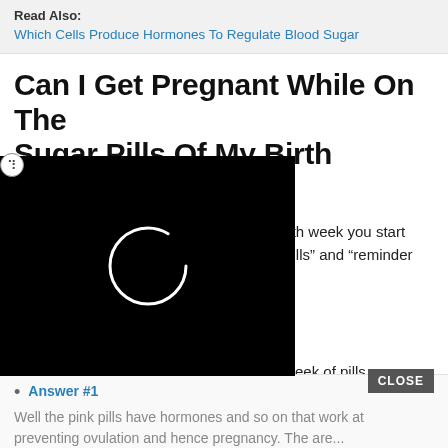Read Also:
Which Cells Produce Hormones To Regulate Blood Sugar
Can I Get Pregnant While On The Sugar Pills Of My Birth Control
A birth control pack has 4 weeks, on the 4th week you start your period, these pills are called “sugar pills” and “reminder pills”. I know that you are protected until the 3rd day of this week, so what would happen if I had sex the first 2 days of that week if I have been on birth control for months and haven't gotten pregnant yet? If I had sex in the 4th week without a condom will I get pregnant? I understand the differences in the 3 weeks of pills and the 4th week of pills, sure you start your period, but can you get pregnant also?
[Figure (screenshot): Black video player overlay with a loading spinner circle in white. An X dismiss icon appears at the top left corner of the overlay. A CLOSE button appears at the bottom right.]
Answer #1
Well the pink pills have hormones and so on that work at preventing ovulation and hence pregnancy. The are...